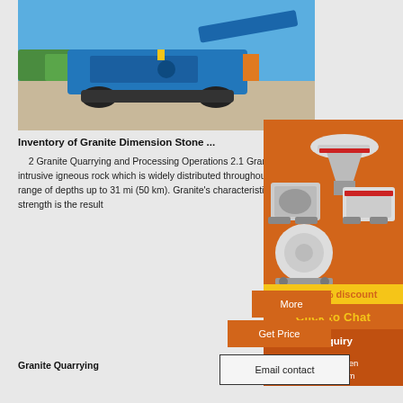[Figure (photo): Blue mobile crushing/screening machine on gravel ground with clear sky background]
Inventory of Granite Dimension Stone ...
2 Granite Quarrying and Processing Operations 2.1 Granite Granite is an intrusive igneous rock which is widely distributed throughout Earth's crust at a range of depths up to 31 mi (50 km). Granite's characteristic grainy structure strength is the result
[Figure (photo): Orange sidebar advertisement showing industrial crushing/grinding machines with 'Enjoy 3% discount', 'Click to Chat', 'Enquiry', and 'limingjlmofen@sina.com' contact information]
More
Get Price
Granite Quarrying
Email contact